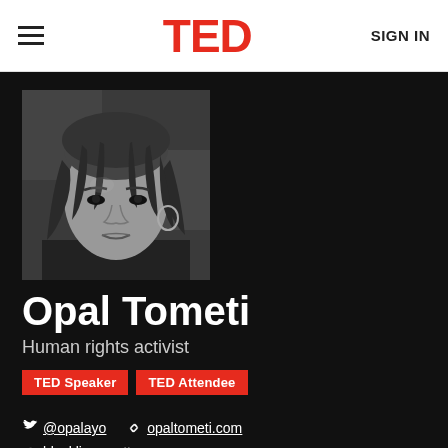TED | SIGN IN
[Figure (photo): Black and white portrait photo of Opal Tometi, a woman with braided hair, looking slightly to the side with a subtle smile]
Opal Tometi
Human rights activist
TED Speaker   TED Attendee
@opalayo   opaltometi.com   blacklivesmatter.com